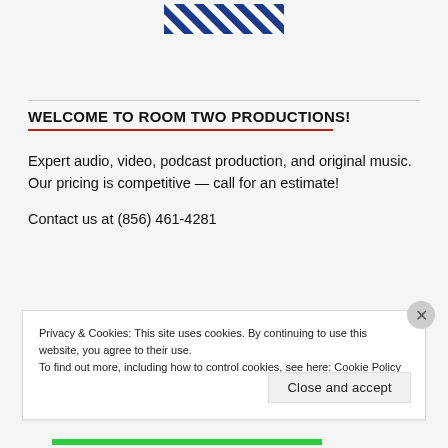[Figure (logo): Diagonal blue and white striped rectangular logo/banner at top center of page]
WELCOME TO ROOM TWO PRODUCTIONS!
Expert audio, video, podcast production, and original music. Our pricing is competitive — call for an estimate!
Contact us at (856) 461-4281
Privacy & Cookies: This site uses cookies. By continuing to use this website, you agree to their use. To find out more, including how to control cookies, see here: Cookie Policy